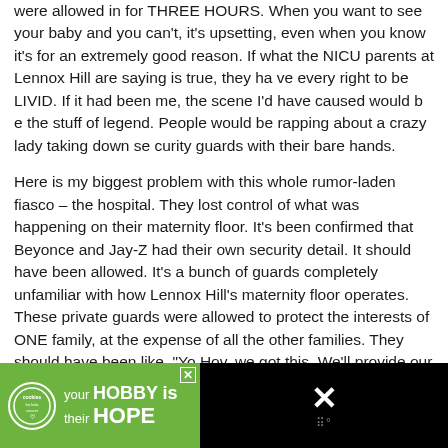were allowed in for THREE HOURS. When you want to see your baby and you can't, it's upsetting, even when you know it's for an extremely good reason. If what the NICU parents at Lennox Hill are saying is true, they have every right to be LIVID. If it had been me, the scene I'd have caused would be the stuff of legend. People would be rapping about a crazy lady taking down security guards with her bare hands.
Here is my biggest problem with this whole rumor-laden fiasco – the hospital. They lost control of what was happening on their maternity floor. It's been confirmed that Beyonce and Jay-Z had their own security detail. It should never should have been allowed. It's a bunch of guards completely unfamiliar with how Lennox Hill's maternity floor operates. These private guards were allowed to protect the interests of ONE family, at the expense of all the other families. They should have been like, "Yo Hov, we got this. We'll provide our own security people who understand this joint, and we'll add it to your hospital bills big time." Experienced Lennox Hill security staffers would never have prevented family members from seeing other patients. They would have known bet
[Figure (infographic): Advertisement banner: green background with cookies for kids cancer logo, text 'your HOBBY is their HOPE', and an X close button. Right side shows black background with a large X and dots icon.]